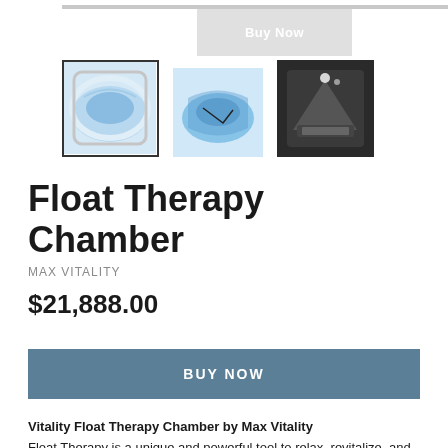[Figure (photo): Top portion of a float therapy chamber product photo (partially visible at top of page)]
Buy Now
[Figure (photo): Thumbnail 1 (selected/bordered): Float therapy chamber interior showing blue water/lighting]
[Figure (photo): Thumbnail 2: Float therapy chamber interior with blue water]
[Figure (photo): Thumbnail 3: Float therapy chamber room view, dark tones]
Float Therapy Chamber
MAX VITALITY
$21,888.00
BUY NOW
Vitality Float Therapy Chamber by Max Vitality
Float Therapy is a unique and powerful tool to relax, revitalize, and recharge your mind, body & spirit. Max Vitality provides their clients